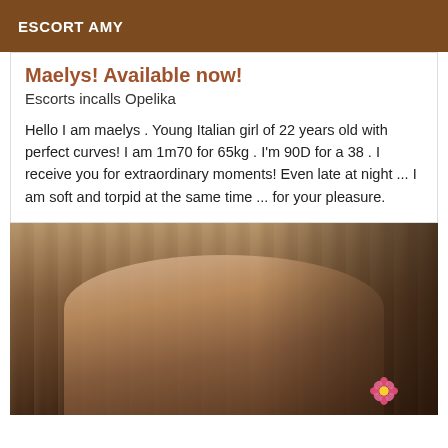ESCORT AMY
Maelys! Available now!
Escorts incalls Opelika
Hello I am maelys . Young Italian girl of 22 years old with perfect curves! I am 1m70 for 65kg . I'm 90D for a 38 . I receive you for extraordinary moments! Even late at night ... I am soft and torpid at the same time ... for your pleasure.
[Figure (photo): Photo of a woman lying down in a dimly lit room with warm brown tones, a pink flower accessory visible, dark background with furniture]